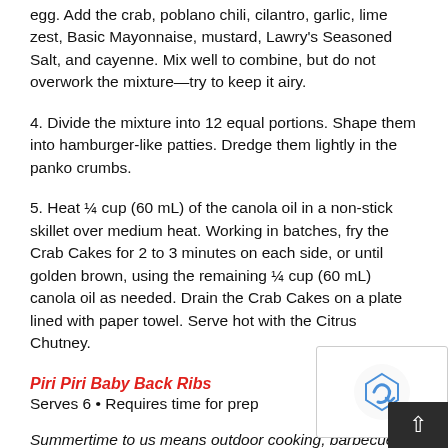egg. Add the crab, poblano chili, cilantro, garlic, lime zest, Basic Mayonnaise, mustard, Lawry's Seasoned Salt, and cayenne. Mix well to combine, but do not overwork the mixture—try to keep it airy.
4. Divide the mixture into 12 equal portions. Shape them into hamburger-like patties. Dredge them lightly in the panko crumbs.
5. Heat ¼ cup (60 mL) of the canola oil in a non-stick skillet over medium heat. Working in batches, fry the Crab Cakes for 2 to 3 minutes on each side, or until golden brown, using the remaining ¼ cup (60 mL) canola oil as needed. Drain the Crab Cakes on a plate lined with paper towel. Serve hot with the Citrus Chutney.
Piri Piri Baby Back Ribs
Serves 6 • Requires time for prep
Summertime to us means outdoor cooking, barbecue, and good times. If we had to cook just one thing in th…